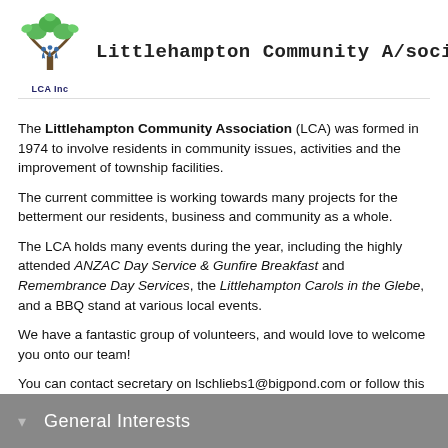[Figure (logo): Littlehampton Community Association Inc logo: a stylized tree with green leaves and blue human figures, with 'LCA Inc' text below]
Littlehampton Community Association Inc
The Littlehampton Community Association (LCA) was formed in 1974 to involve residents in community issues, activities and the improvement of township facilities.
The current committee is working towards many projects for the betterment our residents, business and community as a whole.
The LCA holds many events during the year, including the highly attended ANZAC Day Service & Gunfire Breakfast and Remembrance Day Services, the Littlehampton Carols in the Glebe, and a BBQ stand at various local events.
We have a fantastic group of volunteers, and would love to welcome you onto our team!
You can contact secretary on lschliebs1@bigpond.com or follow this site.
General Interests